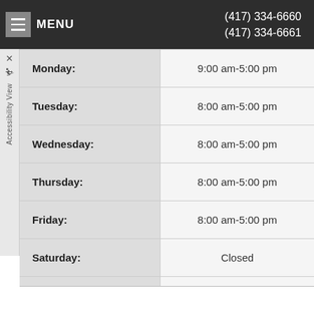MENU  (417) 334-6660  (417) 334-6661
| Day | Hours |
| --- | --- |
| Monday: | 9:00 am-5:00 pm |
| Tuesday: | 8:00 am-5:00 pm |
| Wednesday: | 8:00 am-5:00 pm |
| Thursday: | 8:00 am-5:00 pm |
| Friday: | 8:00 am-5:00 pm |
| Saturday: | Closed |
| Sunday: | Closed |